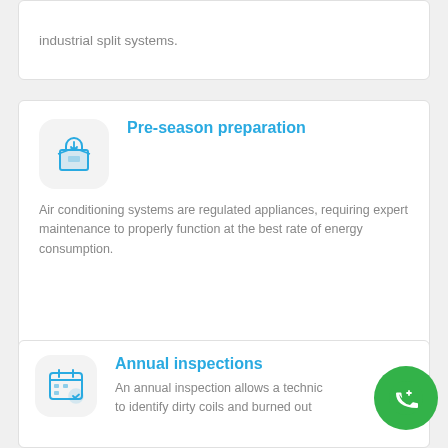industrial split systems.
Pre-season preparation
Air conditioning systems are regulated appliances, requiring expert maintenance to properly function at the best rate of energy consumption.
Annual inspections
An annual inspection allows a technician to identify dirty coils and burned out